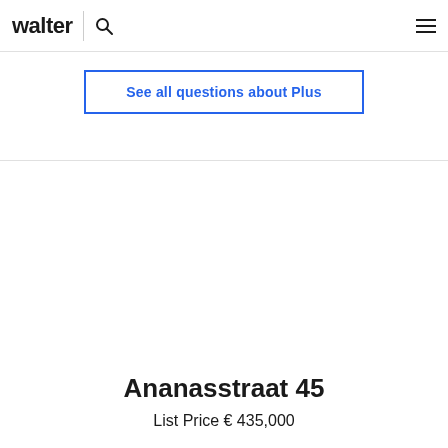walter
See all questions about Plus
Ananasstraat 45
List Price € 435,000